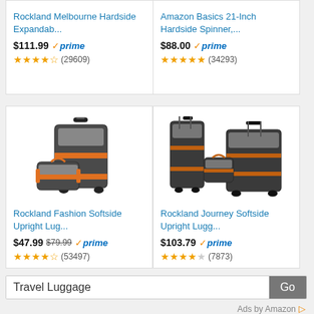[Figure (screenshot): Amazon product listing screenshot showing 4 luggage products in a 2x2 grid. Top row shows partial cards for Rockland Melbourne Hardside Expandable ($111.99, prime, 4.5 stars, 29609 reviews) and Amazon Basics 21-Inch Hardside Spinner ($88.00, prime, 4.5 stars, 34293 reviews). Bottom row shows full cards for Rockland Fashion Softside Upright Luggage ($47.99 sale from $79.99, prime, 4.5 stars, 53497 reviews) and Rockland Journey Softside Upright Luggage ($103.79, prime, 3.5 stars, 7873 reviews). Below the grid is a search bar with 'Travel Luggage' text and a 'Go' button, followed by 'Ads by Amazon' footer.]